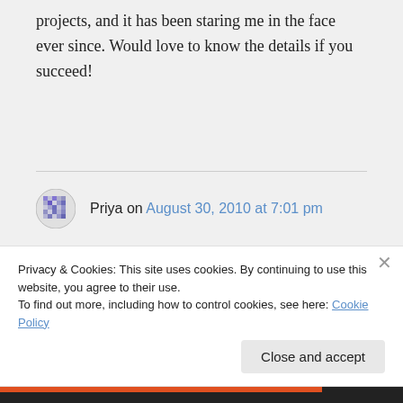projects, and it has been staring me in the face ever since. Would love to know the details if you succeed!
Priya on August 30, 2010 at 7:01 pm
Thanks for replying, Andrabr. I have posted a question with a reference to this blog on the VLC Mailing list. There I have also enumerated some
Privacy & Cookies: This site uses cookies. By continuing to use this website, you agree to their use.
To find out more, including how to control cookies, see here: Cookie Policy